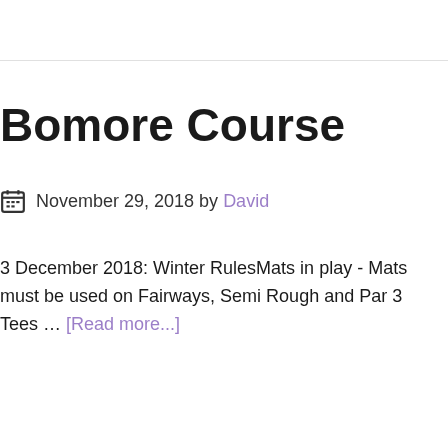Bomore Course
November 29, 2018 by David
3 December 2018: Winter RulesMats in play - Mats must be used on Fairways, Semi Rough and Par 3 Tees … [Read more...]